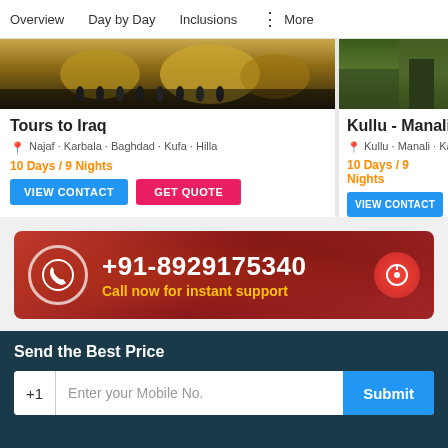Overview  Day by Day  Inclusions  : More
[Figure (screenshot): Photo of arched gate in Iraq with people]
Tours to Iraq
Najaf - Karbala - Baghdad - Kufa - Hilla
10 Days / 9 Nights
VIEW CONTACT   GET QUOTE
[Figure (screenshot): Photo of Kullu Manali Leh mountain area]
Kullu - Manali - Leh
Kullu - Manali - Kargil -
10 Days / 9 Nights
VIEW CONTACT
+91-8929175340
Call now for instant support
Send the Best Price
+1  Enter your Mobile No.  Submit